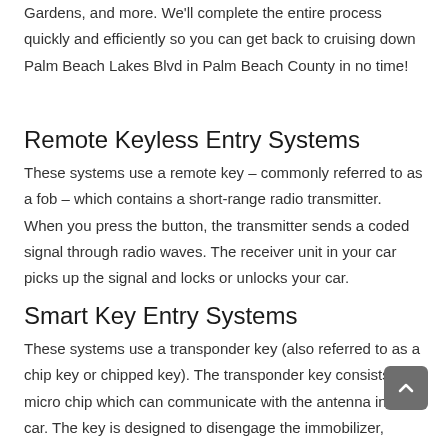Gardens, and more. We'll complete the entire process quickly and efficiently so you can get back to cruising down Palm Beach Lakes Blvd in Palm Beach County in no time!
Remote Keyless Entry Systems
These systems use a remote key – commonly referred to as a fob – which contains a short-range radio transmitter. When you press the button, the transmitter sends a coded signal through radio waves. The receiver unit in your car picks up the signal and locks or unlocks your car.
Smart Key Entry Systems
These systems use a transponder key (also referred to as a chip key or chipped key). The transponder key consists of a micro chip which can communicate with the antenna in the car. The key is designed to disengage the immobilizer, which prevents other people from operating your car even if they